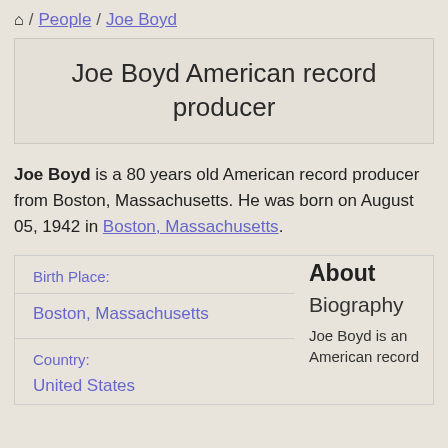🏠 / People / Joe Boyd
Joe Boyd American record producer
Joe Boyd is a 80 years old American record producer from Boston, Massachusetts. He was born on August 05, 1942 in Boston, Massachusetts.
| Field | Value |
| --- | --- |
| Birth Place: | Boston, Massachusetts |
| Country: | United States |
About
Biography
Joe Boyd is an American record